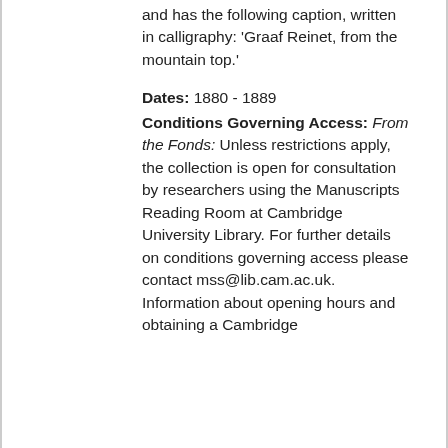and has the following caption, written in calligraphy: 'Graaf Reinet, from the mountain top.'
Dates: 1880 - 1889
Conditions Governing Access: From the Fonds: Unless restrictions apply, the collection is open for consultation by researchers using the Manuscripts Reading Room at Cambridge University Library. For further details on conditions governing access please contact mss@lib.cam.ac.uk. Information about opening hours and obtaining a Cambridge